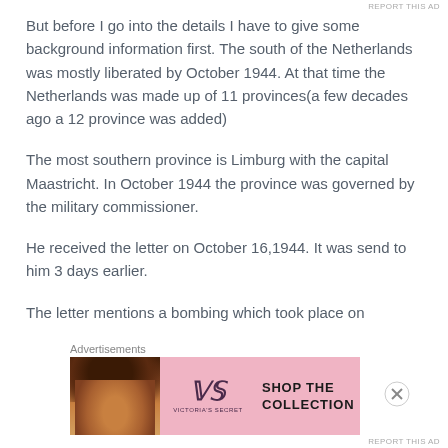REPORT THIS AD
But before I go into the details I have to give some background information first. The south of the Netherlands was mostly liberated by October 1944. At that time the Netherlands was made up of 11 provinces(a few decades ago a 12 province was added)
The most southern province is Limburg with the capital Maastricht. In October 1944 the province was governed by the military commissioner.
He received the letter on October 16,1944. It was send to him 3 days earlier.
The letter mentions a bombing which took place on
Advertisements
[Figure (other): Victoria's Secret advertisement banner with model photo, VS logo, 'SHOP THE COLLECTION' text, and 'SHOP NOW' button]
REPORT THIS AD